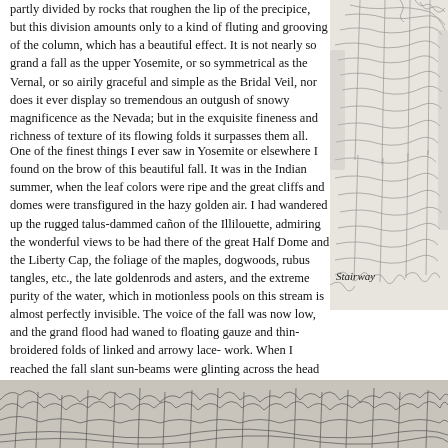partly divided by rocks that roughen the lip of the precipice, but this division amounts only to a kind of fluting and grooving of the column, which has a beautiful effect. It is not nearly so grand a fall as the upper Yosemite, or so symmetrical as the Vernal, or so airily graceful and simple as the Bridal Veil, nor does it ever display so tremendous an outgush of snowy magnificence as the Nevada; but in the exquisite fineness and richness of texture of its flowing folds it surpasses them all.
[Figure (illustration): Detailed pencil sketch illustration of a rocky cliff or stairway formation with vegetation, positioned on the right side of the page]
One of the finest things I ever saw in Yosemite or elsewhere I found on the brow of this beautiful fall. It was in the Indian summer, when the leaf colors were ripe and the great cliffs and domes were transfigured in the hazy golden air. I had wandered up the rugged talus-dammed cañon of the Illilouette, admiring the wonderful views to be had there of the great Half Dome and the Liberty Cap, the foliage of the maples, dogwoods, rubus tangles, etc., the late goldenrods and asters, and the extreme purity of the water, which in motionless pools on this stream is almost perfectly invisible. The voice of the fall was now low, and the grand flood had waned to floating gauze and thin-broidered folds of linked and arrowy lace-work. When I reached the fall slant sun-beams were glinting across the head of it, leaving all the rest in shadow; and on the illumined brow a group of yellow spangles were playing, of singular form and beauty, fla flame-shaped masses, wavering at times, then steadying, rising and falling in water. But the color changed not at all. Nothing in clouds or flowers, on bird-w it in fineness. It was the most divinely beautiful mass of yellow light I ever beh that come to us but once in a lifetime.
Stairway
[Figure (illustration): Panoramic pencil sketch illustration of a forested landscape with trees and vegetation, shown as a wide strip at the bottom of the page]